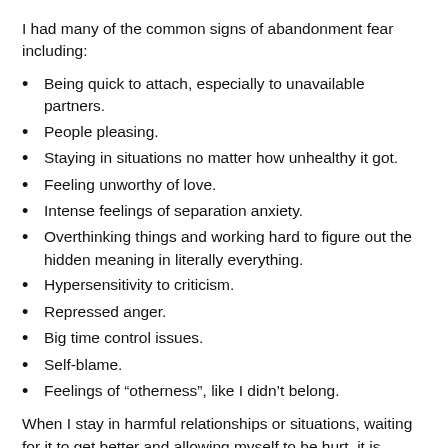I had many of the common signs of abandonment fear including:
Being quick to attach, especially to unavailable partners.
People pleasing.
Staying in situations no matter how unhealthy it got.
Feeling unworthy of love.
Intense feelings of separation anxiety.
Overthinking things and working hard to figure out the hidden meaning in literally everything.
Hypersensitivity to criticism.
Repressed anger.
Big time control issues.
Self-blame.
Feelings of “otherness”, like I didn’t belong.
When I stay in harmful relationships or situations, waiting for it to get better and allowing myself to be hurt, it is